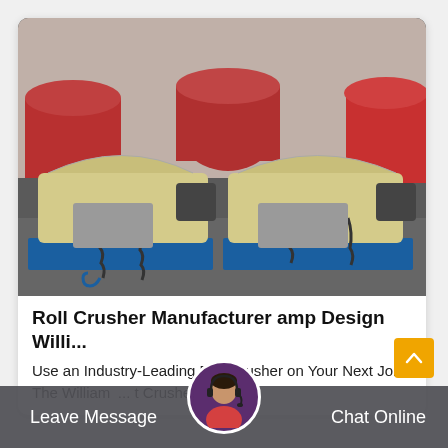[Figure (photo): Industrial roll crushers (yellow/cream colored with blue bases and chain restraints) staged in a factory warehouse, with large ball mill drums visible in the background.]
Roll Crusher Manufacturer amp Design Willi...
Use an Industry-Leading Roll Crusher on Your Next Job. The William... t Crusher Roll...
Leave Message   Chat Online